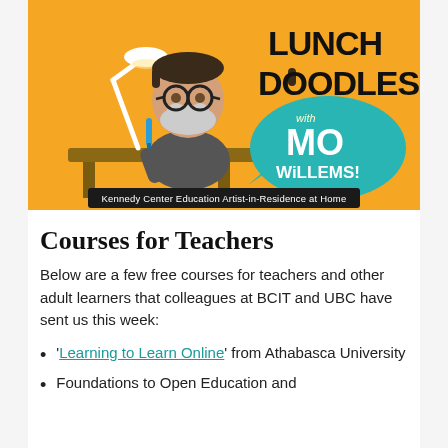[Figure (illustration): Promotional graphic for 'Lunch Doodles with Mo Willems!' — Kennedy Center Education Artist-in-Residence at Home. Features a cartoon illustration of a bearded man with glasses holding a blue pen, sitting at a drawing desk with a lamp, on an orange background. A teal speech bubble contains the text 'with MO WILLEMS!' in bold. A dark banner at the bottom reads 'Kennedy Center Education Artist-in-Residence at Home'.]
Courses for Teachers
Below are a few free courses for teachers and other adult learners that colleagues at BCIT and UBC have sent us this week:
'Learning to Learn Online' from Athabasca University
Foundations to Open Education and